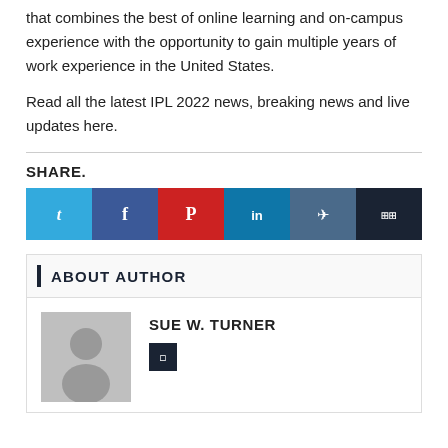that combines the best of online learning and on-campus experience with the opportunity to gain multiple years of work experience in the United States.
Read all the latest IPL 2022 news, breaking news and live updates here.
SHARE.
[Figure (infographic): Social share buttons: Twitter, Facebook, Pinterest, LinkedIn, Telegram, and a share/more button]
ABOUT AUTHOR
[Figure (photo): Grey placeholder avatar silhouette image for author SUE W. TURNER]
SUE W. TURNER
[Figure (infographic): Small dark social icon button next to author name]